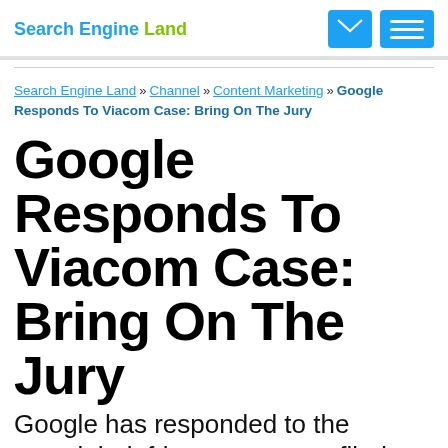Search Engine Land
Search Engine Land » Channel » Content Marketing » Google Responds To Viacom Case: Bring On The Jury
Google Responds To Viacom Case: Bring On The Jury
Google has responded to the copyright infringement case filed against it by Viacom over video content on YouTube